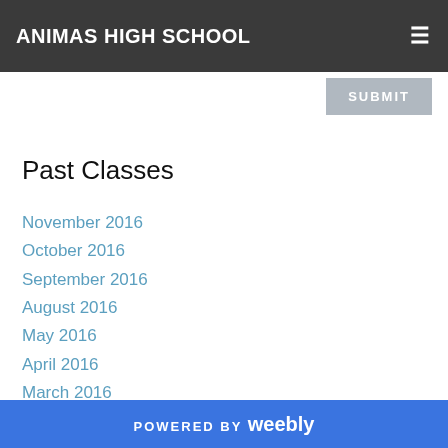ANIMAS HIGH SCHOOL
Past Classes
November 2016
October 2016
September 2016
August 2016
May 2016
April 2016
March 2016
February 2016
January 2016
December 2015
POWERED BY weebly